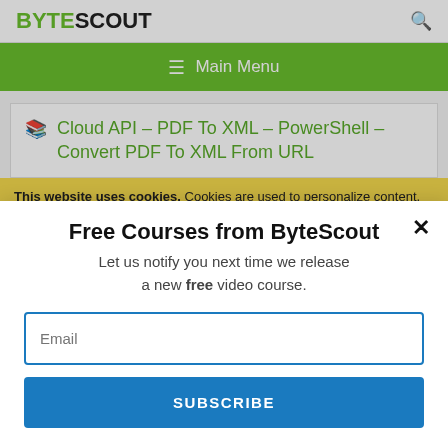BYTESCOUT
Cloud API – PDF To XML – PowerShell – Convert PDF To XML From URL
This website uses cookies. Cookies are used to personalize content, analyze traffic, provide social media features, display ads. We also share
Free Courses from ByteScout
Let us notify you next time we release a new free video course.